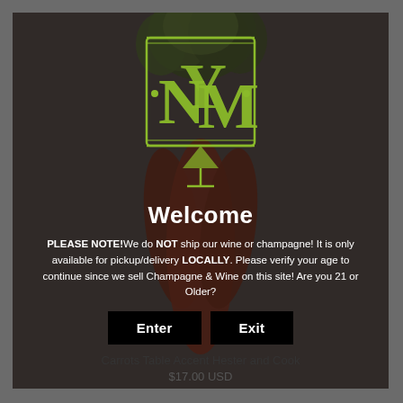[Figure (logo): Stylized monogram logo with letters N, Y, M interlocked in bright green, overlaid on a bunch of carrots with green tops]
Welcome
PLEASE NOTE!We do NOT ship our wine or champagne! It is only available for pickup/delivery LOCALLY. Please verify your age to continue since we sell Champagne & Wine on this site! Are you 21 or Older?
Enter
Exit
Carrots Table Accent Hester and Cook
$17.00 USD